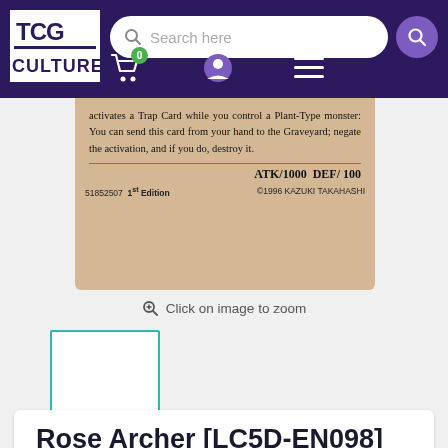[Figure (screenshot): TCG Culture website header with logo, search bar, cart icon with badge showing 0, user icon, and hamburger menu on dark purple background]
[Figure (photo): Partial Yu-Gi-Oh card image showing card text: 'activates a Trap Card while you control a Plant-Type monster: You can send this card from your hand to the Graveyard; negate the activation, and if you do, destroy it.' ATK/1000 DEF/100, 51852507 1st Edition, ©1996 KAZUKI TAKAHASHI]
Click on image to zoom
[Figure (photo): Small thumbnail placeholder with teal/turquoise border outline, white interior, no image loaded]
Rose Archer [LC5D-EN098]